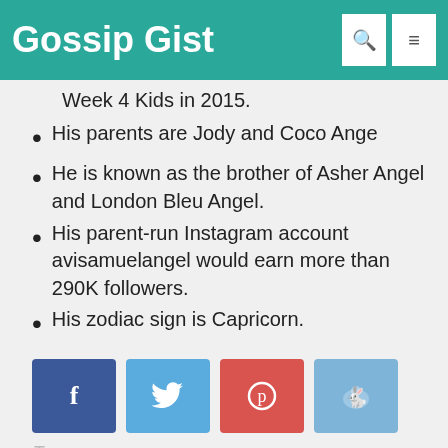Gossip Gist
Week 4 Kids in 2015.
His parents are Jody and Coco Ange
He is known as the brother of Asher Angel and London Bleu Angel.
His parent-run Instagram account avisamuelangel would earn more than 290K followers.
His zodiac sign is Capricorn.
[Figure (other): Social share buttons: Facebook (f), Twitter (bird), Pinterest (p), Reddit (alien icon)]
Tags: